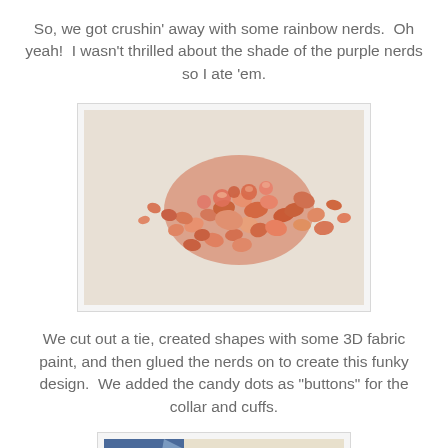So, we got crushin' away with some rainbow nerds.  Oh yeah!  I wasn't thrilled about the shade of the purple nerds so I ate 'em.
[Figure (photo): Crushed orange/pink nerds candy scattered on a light surface, showing many small broken candy pieces]
We cut out a tie, created shapes with some 3D fabric paint, and then glued the nerds on to create this funky design.  We added the candy dots as "buttons" for the collar and cuffs.
[Figure (photo): Partial view of a craft project, partially visible at bottom of page]